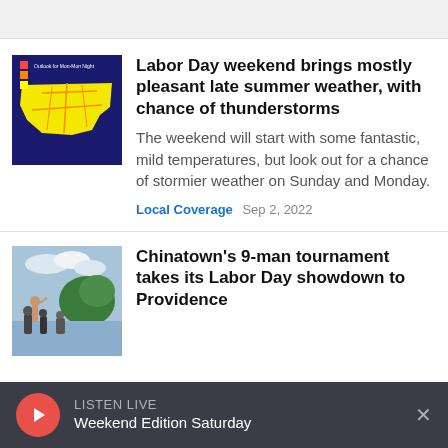[Figure (screenshot): Top navigation bar area, light gray background]
[Figure (map): Weather map thumbnail showing Connecticut region with yellow color indicating weather conditions]
Labor Day weekend brings mostly pleasant late summer weather, with chance of thunderstorms
The weekend will start with some fantastic, mild temperatures, but look out for a chance of stormier weather on Sunday and Monday.
Local Coverage  Sep 2, 2022
[Figure (photo): Outdoor photo of Chinatown 9-man volleyball tournament, people visible with trees and buildings in background]
Chinatown's 9-man tournament takes its Labor Day showdown to Providence
LISTEN LIVE  Weekend Edition Saturday